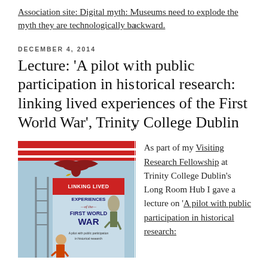Association site: Digital myth: Museums need to explode the myth they are technologically backward.
DECEMBER 4, 2014
Lecture: 'A pilot with public participation in historical research: linking lived experiences of the First World War', Trinity College Dublin
[Figure (illustration): Vintage-style poster reading 'LINKING LIVED EXPERIENCES of the FIRST WORLD WAR – A pilot with public participation in historical research' with a WWI-era eagle emblem and soldiers.]
As part of my Visiting Research Fellowship at Trinity College Dublin's Long Room Hub I gave a lecture on 'A pilot with public participation in historical research: